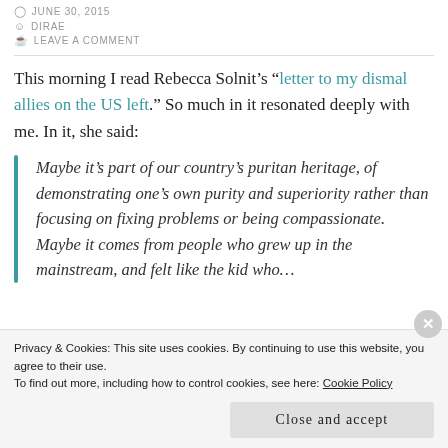JUNE 30, 2015
DIRAE
LEAVE A COMMENT
This morning I read Rebecca Solnit's “letter to my dismal allies on the US left.” So much in it resonated deeply with me. In it, she said:
Maybe it’s part of our country’s puritan heritage, of demonstrating one’s own purity and superiority rather than focusing on fixing problems or being compassionate. Maybe it comes from people who grew up in the mainstream, and felt like the kid who…
Privacy & Cookies: This site uses cookies. By continuing to use this website, you agree to their use.
To find out more, including how to control cookies, see here: Cookie Policy
Close and accept